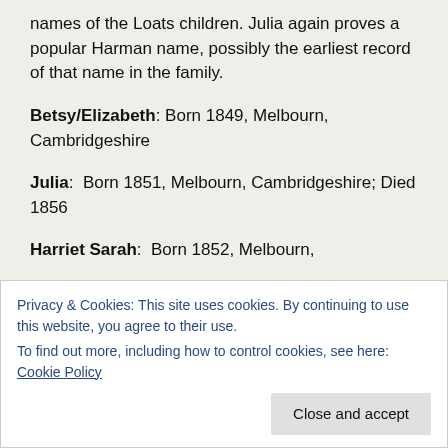names of the Loats children. Julia again proves a popular Harman name, possibly the earliest record of that name in the family.
Betsy/Elizabeth: Born 1849, Melbourn, Cambridgeshire
Julia: Born 1851, Melbourn, Cambridgeshire; Died 1856
Harriet Sarah: Born 1852, Melbourn,
Privacy & Cookies: This site uses cookies. By continuing to use this website, you agree to their use.
To find out more, including how to control cookies, see here: Cookie Policy